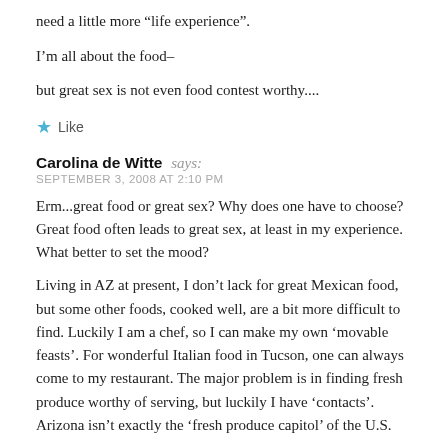need a little more “life experience”.
I’m all about the food–
but great sex is not even food contest worthy....
★ Like
Carolina de Witte says:
SEPTEMBER 3, 2008 AT 2:10 PM
Erm...great food or great sex? Why does one have to choose? Great food often leads to great sex, at least in my experience. What better to set the mood?
Living in AZ at present, I don’t lack for great Mexican food, but some other foods, cooked well, are a bit more difficult to find. Luckily I am a chef, so I can make my own ‘movable feasts’. For wonderful Italian food in Tucson, one can always come to my restaurant. The major problem is in finding fresh produce worthy of serving, but luckily I have ‘contacts’. Arizona isn’t exactly the ‘fresh produce capitol’ of the U.S.